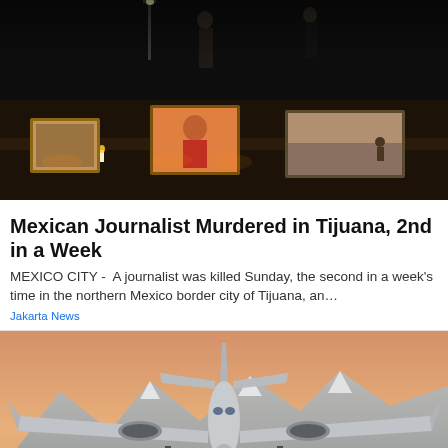[Figure (photo): Night vigil scene with candles, framed photographs on a stage, and people standing in the background — memorial for murdered journalists in Tijuana]
Mexican Journalist Murdered in Tijuana, 2nd in a Week
MEXICO CITY -  A journalist was killed Sunday, the second in a week's time in the northern Mexico border city of Tijuana, an…
Jakarta News
[Figure (photo): Airplane viewed from the front/below, landing or taking off against a warm orange-golden sky, with mountains and a cityscape in the background]